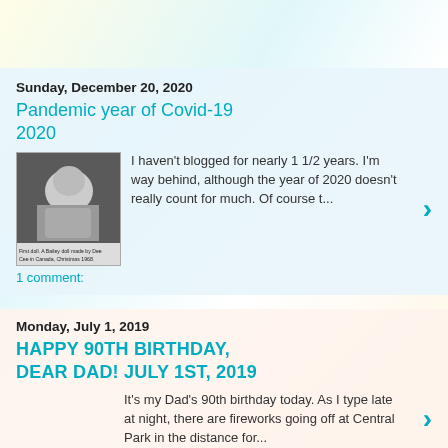Sunday, December 20, 2020
Pandemic year of Covid-19 2020
[Figure (photo): Black and white photo of a baby, with caption text below about a doll made by Dee Cee in Canada, Christmas 1968.]
I haven't blogged for nearly 1 1/2 years. I'm way behind, although the year of 2020 doesn't really count for much. Of course t...
1 comment:
Monday, July 1, 2019
HAPPY 90TH BIRTHDAY, DEAR DAD! JULY 1ST, 2019
It's my Dad's 90th birthday today. As I type late at night, there are fireworks going off at Central Park in the distance for...
1 comment:
Thursday, April 4, 2019